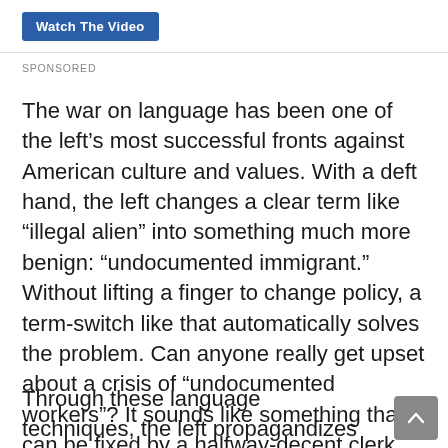[Figure (other): Watch The Video button - blue rounded rectangle button with white text]
SPONSORED
The war on language has been one of the left’s most successful fronts against American culture and values. With a deft hand, the left changes a clear term like “illegal alien” into something much more benign: “undocumented immigrant.” Without lifting a finger to change policy, a term-switch like that automatically solves the problem. Can anyone really get upset about a crisis of “undocumented workers”? It sounds like something that can be fixed by a halfway-decent clerk.
Through these language techniques, the left propagandizes the nation. But the PC terminology